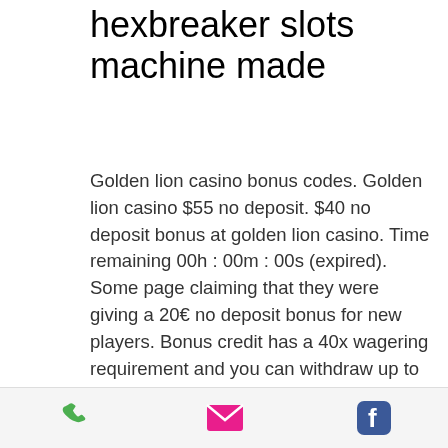hexbreaker slots machine made
Golden lion casino bonus codes. Golden lion casino $55 no deposit. $40 no deposit bonus at golden lion casino. Time remaining 00h : 00m : 00s (expired). Some page claiming that they were giving a 20€ no deposit bonus for new players. Bonus credit has a 40x wagering requirement and you can withdraw up to £50 from our no deposit free bonuses. We also give out regular bonuses by text to. Play your favorite yaamava' resort &amp; casino at san manuel games for free with play online by yaamava'. Play your favorite slots and table games! 15free is the no deposit code for you to redeem the free chip and roll with the wins! golden lion casino. Bonus, no deposit bonus.
[Figure (other): Footer bar with three icons: phone (green), email/envelope (pink/red), and Facebook (blue)]